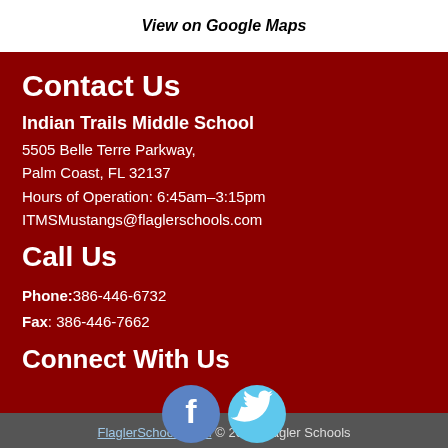View on Google Maps
Contact Us
Indian Trails Middle School
5505 Belle Terre Parkway,
Palm Coast, FL 32137
Hours of Operation: 6:45am–3:15pm
ITMSMustangs@flaglerschools.com
Call Us
Phone:386-446-6732
Fax: 386-446-7662
Connect With Us
[Figure (illustration): Facebook and Twitter social media icons (circles with f and bird logos)]
FlaglerSchools.com © 2022 Flagler Schools